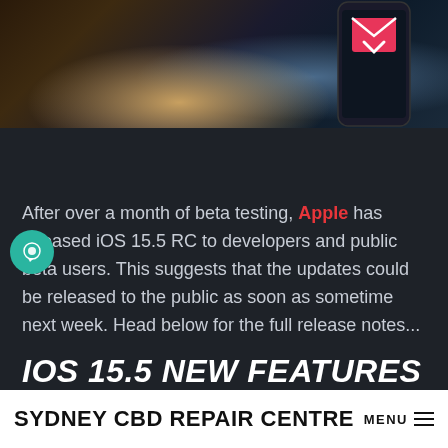[Figure (photo): Top portion of a dark promotional image showing an iPhone with a pink/red envelope icon overlay, against a dark background with warm amber and cool blue lighting effects.]
After over a month of beta testing, Apple has released iOS 15.5 RC to developers and public beta users. This suggests that the updates could be released to the public as soon as sometime next week. Head below for the full release notes...
IOS 15.5 NEW FEATURES
SYDNEY CBD REPAIR CENTRE MENU ☰